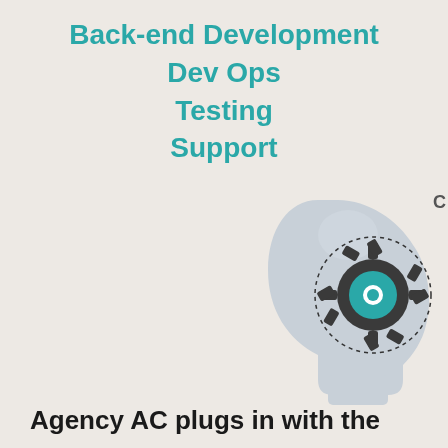Back-end Development
Dev Ops
Testing
Support
[Figure (illustration): Illustration of a human head profile in light gray with a gear/cog mechanism visible inside the brain area. The gear has teal/cyan colored circular center and dark gray tooth-like protrusions with dotted circle border. A small 'C' letter appears at top right near the head.]
Agency AC plugs in with the